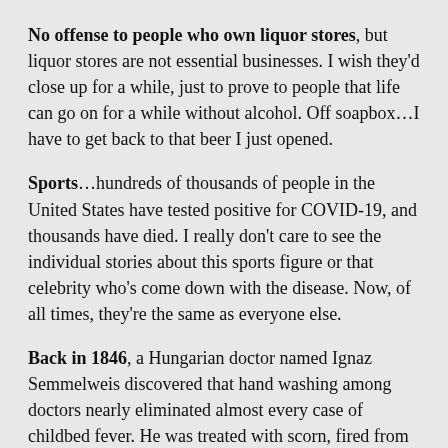No offense to people who own liquor stores, but liquor stores are not essential businesses. I wish they'd close up for a while, just to prove to people that life can go on for a while without alcohol. Off soapbox…I have to get back to that beer I just opened.
Sports…hundreds of thousands of people in the United States have tested positive for COVID-19, and thousands have died. I really don't care to see the individual stories about this sports figure or that celebrity who's come down with the disease. Now, of all times, they're the same as everyone else.
Back in 1846, a Hungarian doctor named Ignaz Semmelweis discovered that hand washing among doctors nearly eliminated almost every case of childbed fever. He was treated with scorn, fired from his job, and eventually died in an asylum from sepsis, the same kind of infection he was trying to eliminate.